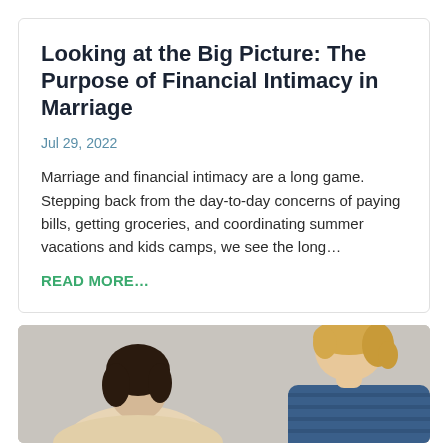Looking at the Big Picture: The Purpose of Financial Intimacy in Marriage
Jul 29, 2022
Marriage and financial intimacy are a long game. Stepping back from the day-to-day concerns of paying bills, getting groceries, and coordinating summer vacations and kids camps, we see the long…
READ MORE…
[Figure (photo): Two people (one with dark hair, one blonde) seen from behind or side, appearing to look down at something, in a light interior setting.]